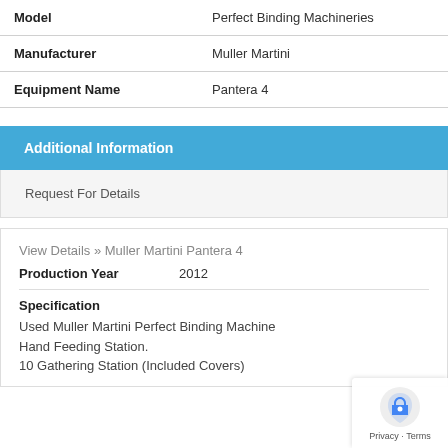| Label | Value |
| --- | --- |
| Model | Perfect Binding Machineries |
| Manufacturer | Muller Martini |
| Equipment Name | Pantera 4 |
Additional Information
Request For Details
View Details >> Muller Martini Pantera 4
Production Year    2012
Specification
Used Muller Martini Perfect Binding Machine Hand Feeding Station.
10 Gathering Station (Included Covers)